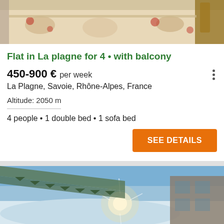[Figure (photo): Top portion of a vacation rental interior photo showing a dining area with floral tablecloth]
Flat in La plagne for 4 • with balcony
450-900 € per week
La Plagne, Savoie, Rhône-Alpes, France
Altitude: 2050 m
4 people • 1 double bed • 1 sofa bed
SEE DETAILS
[Figure (photo): Exterior photo of La Plagne ski resort showing snowy mountain scenery with bright sunlight and chalet buildings]